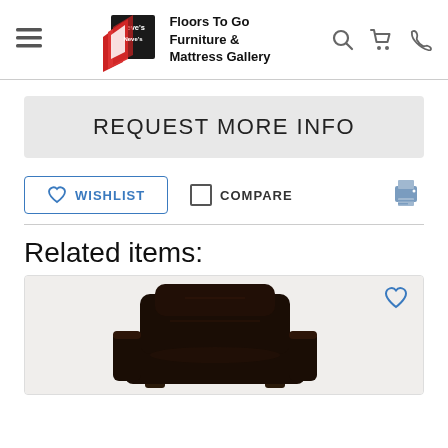Neve's Floors To Go Furniture & Mattress Gallery
REQUEST MORE INFO
WISHLIST
COMPARE
Related items:
[Figure (photo): Dark brown leather recliner chair with padded arms and high back]